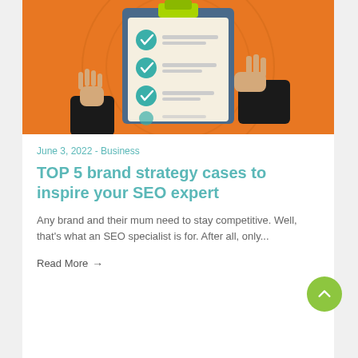[Figure (illustration): Illustration of hands in business suit holding a clipboard with three green checkmark items on an orange background]
June 3, 2022 - Business
TOP 5 brand strategy cases to inspire your SEO expert
Any brand and their mum need to stay competitive. Well, that's what an SEO specialist is for. After all, only...
Read More →